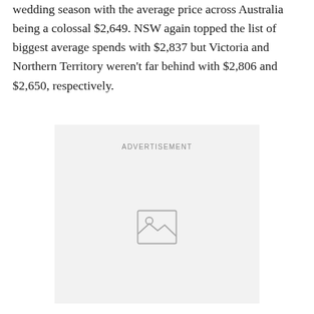wedding season with the average price across Australia being a colossal $2,649. NSW again topped the list of biggest average spends with $2,837 but Victoria and Northern Territory weren't far behind with $2,806 and $2,650, respectively.
[Figure (other): Advertisement placeholder box with image icon and 'ADVERTISEMENT' label]